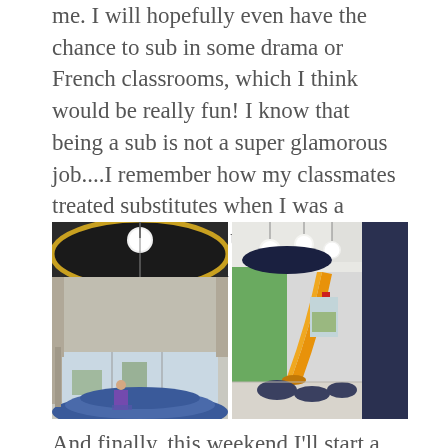me. I will hopefully even have the chance to sub in some drama or French classrooms, which I think would be really fun! I know that being a sub is not a super glamorous job....I remember how my classmates treated substitutes when I was a student....but I still think this is sort of an ideal position for me at this point of the game.
[Figure (photo): Two side-by-side interior photos of a modern school building. Left photo shows a atrium-like space with oval black ceiling elements edged in yellow/gold, round white globe pendant lights, and a person sitting on curved blue steps near large windows. Right photo shows a hallway/common area with a yellow spiral slide, green walls, globe pendant lights, and dark lounge seating.]
And finally, this weekend I'll start a hysterical job at